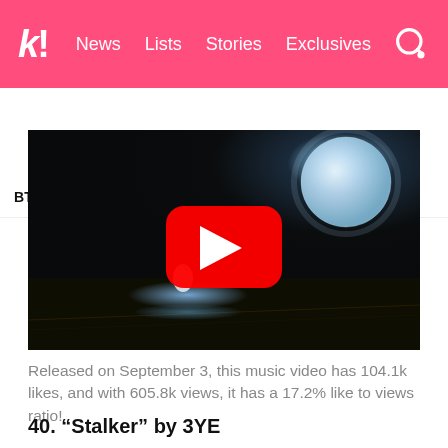k! News Lists Stories Exclusives
BTS BLACKPINK TWICE IVE aespa NCT SEVE
[Figure (screenshot): YouTube music video thumbnail showing a night scene with a large moon, a car on a dark road, and a YouTube play button overlay.]
Released on September 3, this music video has 104.1k likes, and with 605.8k views, it has a 17.2% like to views ratio!
40. “Stalker” by 3YE